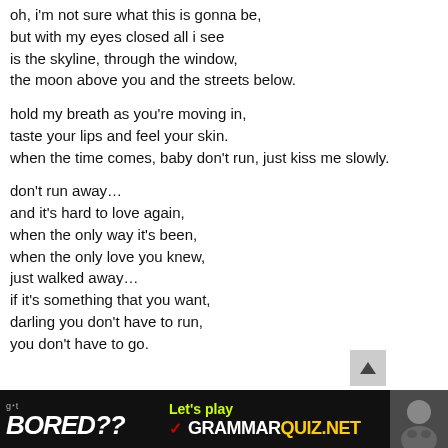oh, i'm not sure what this is gonna be,
but with my eyes closed all i see
is the skyline, through the window,
the moon above you and the streets below.

hold my breath as you're moving in,
taste your lips and feel your skin.
when the time comes, baby don't run, just kiss me slowly.

don't run away…
and it's hard to love again,
when the only way it's been,
when the only love you knew,
just walked away…
if it's something that you want,
darling you don't have to run,
you don't have to go.
[Figure (infographic): Black banner advertisement at bottom. Left side shows 'g*t BORED??' in white bold italic text. Center shows 'Let's play' in yellow-green and 'GRAMMARQUIZ.NET' in white and yellow bold text with a red checkmark. Right side shows a photo of a person's face.]